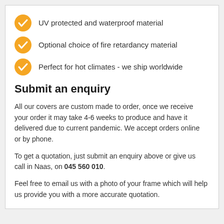UV protected and waterproof material
Optional choice of fire retardancy material
Perfect for hot climates - we ship worldwide
Submit an enquiry
All our covers are custom made to order, once we receive your order it may take 4-6 weeks to produce and have it delivered due to current pandemic. We accept orders online or by phone.
To get a quotation, just submit an enquiry above or give us call in Naas, on 045 560 010.
Feel free to email us with a photo of your frame which will help us provide you with a more accurate quotation.